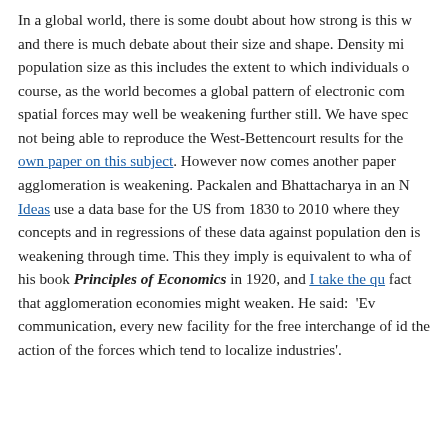In a global world, there is some doubt about how strong is this w and there is much debate about their size and shape. Density mi population size as this includes the extent to which individuals o course, as the world becomes a global pattern of electronic com spatial forces may well be weakening further still. We have spec not being able to reproduce the West-Bettencourt results for the own paper on this subject. However now comes another paper agglomeration is weakening. Packalen and Bhattacharya in an N Ideas use a data base for the US from 1830 to 2010 where they concepts and in regressions of these data against population den is weakening through time. This they imply is equivalent to wha of his book Principles of Economics in 1920, and I take the qu fact that agglomeration economies might weaken. He said: 'Ev communication, every new facility for the free interchange of id the action of the forces which tend to localize industries'.